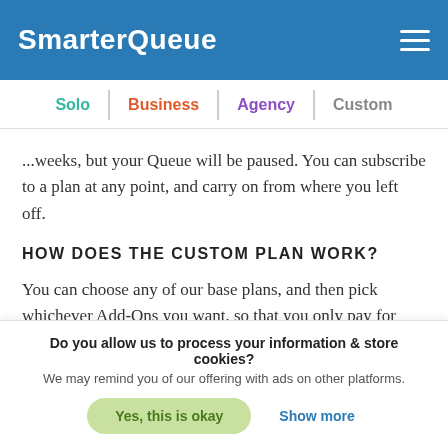SmarterQueue
Solo | Business | Agency | Custom
...weeks, but your Queue will be paused. You can subscribe to a plan at any point, and carry on from where you left off.
HOW DOES THE CUSTOM PLAN WORK?
You can choose any of our base plans, and then pick whichever Add-Ons you want, so that you only pay for what you need. As your business grows, simply upgrade
Do you allow us to process your information & store cookies? We may remind you of our offering with ads on other platforms.
Yes, this is okay
Show more